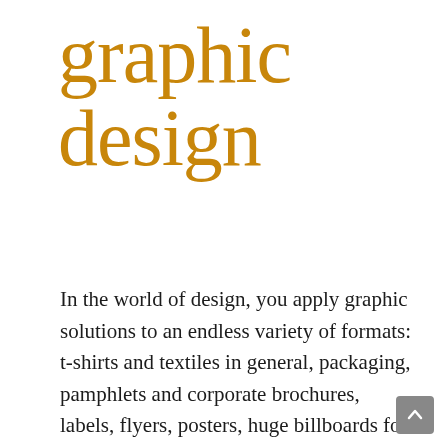graphic design
In the world of design, you apply graphic solutions to an endless variety of formats: t-shirts and textiles in general, packaging, pamphlets and corporate brochures, labels, flyers, posters, huge billboards for trade fairs and events, and even tiny postage stamps.
[Figure (photo): Red t-shirt with a star logo and 'TERNUA' branding, partially visible from the top/shoulders down]